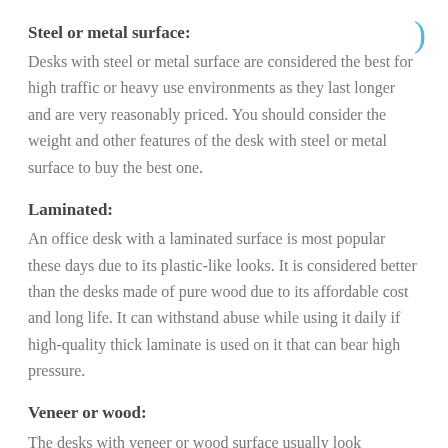Steel or metal surface:
Desks with steel or metal surface are considered the best for high traffic or heavy use environments as they last longer and are very reasonably priced. You should consider the weight and other features of the desk with steel or metal surface to buy the best one.
Laminated:
An office desk with a laminated surface is most popular these days due to its plastic-like looks. It is considered better than the desks made of pure wood due to its affordable cost and long life. It can withstand abuse while using it daily if high-quality thick laminate is used on it that can bear high pressure.
Veneer or wood:
The desks with veneer or wood surface usually look attractive but are liked less in today's work environment.